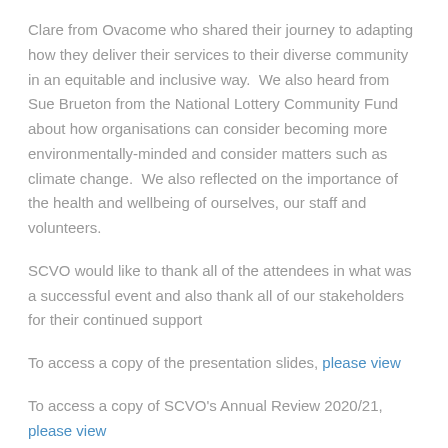Clare from Ovacome who shared their journey to adapting how they deliver their services to their diverse community in an equitable and inclusive way.  We also heard from Sue Brueton from the National Lottery Community Fund about how organisations can consider becoming more environmentally-minded and consider matters such as climate change.  We also reflected on the importance of the health and wellbeing of ourselves, our staff and volunteers.
SCVO would like to thank all of the attendees in what was a successful event and also thank all of our stakeholders for their continued support
To access a copy of the presentation slides, please view
To access a copy of SCVO's Annual Review 2020/21, please view